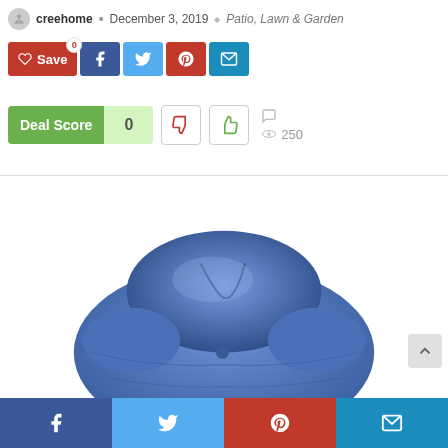creehome • December 3, 2019 • Patio, Lawn & Garden
[Figure (screenshot): Social share bar with Save button (red), Facebook (dark blue), Twitter (light blue), Pinterest (red), Email (blue) buttons]
[Figure (infographic): Deal Score widget showing score of 0, thumbs down button, thumbs up button, comment icon, and 250 views]
[Figure (photo): Blue round tufted outdoor seat cushion / patio chair cushion, viewed from above at an angle, showing the quilted pattern]
Facebook | Twitter | Pinterest | Email